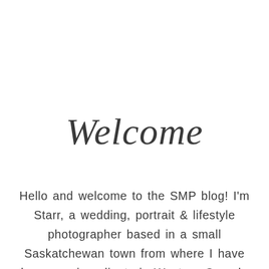Welcome
Hello and welcome to the SMP blog! I'm Starr, a wedding, portrait & lifestyle photographer based in a small Saskatchewan town from where I have been serving clients in Western Canada since 2009. I hope you'll grab a coffee (pumpkin